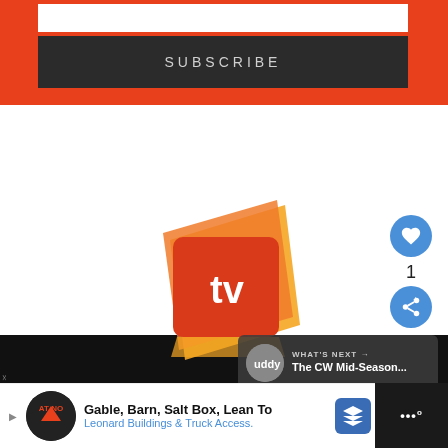[Figure (screenshot): Red subscribe bar with input field and dark SUBSCRIBE button]
[Figure (logo): BuddyTV tv logo - orange and red layered 3D box with white 'tv' text]
TV SHOWS
[Figure (infographic): Heart like button (blue circle) with count of 1, and share button (blue circle) on right side]
[Figure (screenshot): What's Next card showing 'The CW Mid-Season...']
[Figure (screenshot): Advertisement banner: Gable, Barn, Salt Box, Lean To - Leonard Buildings & Truck Access.]